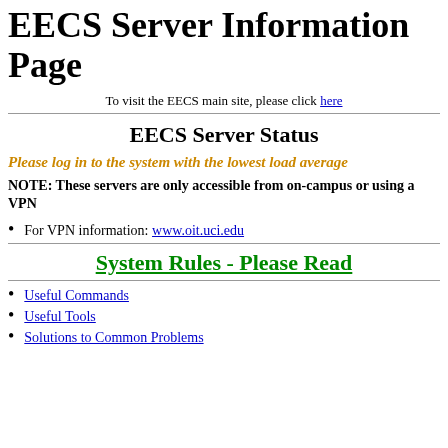EECS Server Information Page
To visit the EECS main site, please click here
EECS Server Status
Please log in to the system with the lowest load average
NOTE: These servers are only accessible from on-campus or using a VPN
For VPN information: www.oit.uci.edu
System Rules - Please Read
Useful Commands
Useful Tools
Solutions to Common Problems